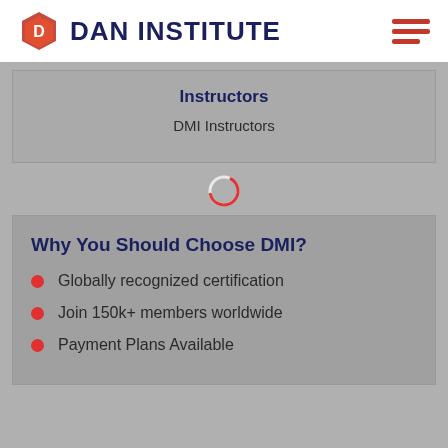DAN INSTITUTE
Instructors
DMI Instructors
[Figure (other): Loading spinner circle icon in red/pink]
Why You Should Choose DMI?
Globally recognized certification
Join 150k+ members worldwide
Payment Plans Available